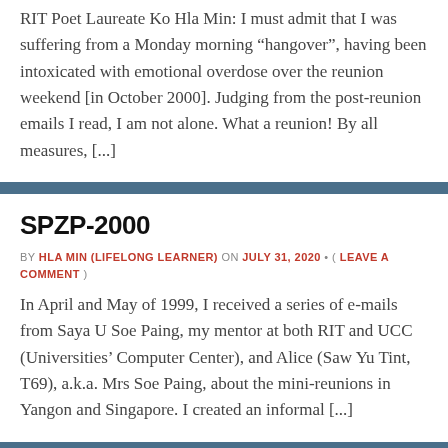RIT Poet Laureate Ko Hla Min: I must admit that I was suffering from a Monday morning “hangover”, having been intoxicated with emotional overdose over the reunion weekend [in October 2000]. Judging from the post-reunion emails I read, I am not alone. What a reunion! By all measures, [...]
SPZP-2000
BY HLA MIN (LIFELONG LEARNER) ON JULY 31, 2020 • ( LEAVE A COMMENT )
In April and May of 1999, I received a series of e-mails from Saya U Soe Paing, my mentor at both RIT and UCC (Universities’ Computer Center), and Alice (Saw Yu Tint, T69), a.k.a. Mrs Soe Paing, about the mini-reunions in Yangon and Singapore. I created an informal [...]